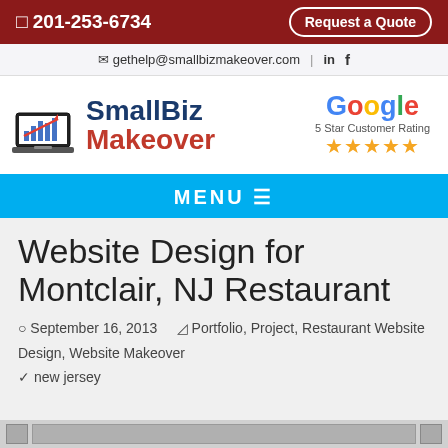201-253-6734  Request a Quote
✉ gethelp@smallbizmakeover.com  |  in  f
[Figure (logo): SmallBiz Makeover logo with laptop graphic and bar chart icon; Google 5 Star Customer Rating with 5 gold stars]
MENU ☰
Website Design for Montclair, NJ Restaurant
⊙ September 16, 2013   🗀 Portfolio, Project, Restaurant Website Design, Website Makeover   🏷 new jersey